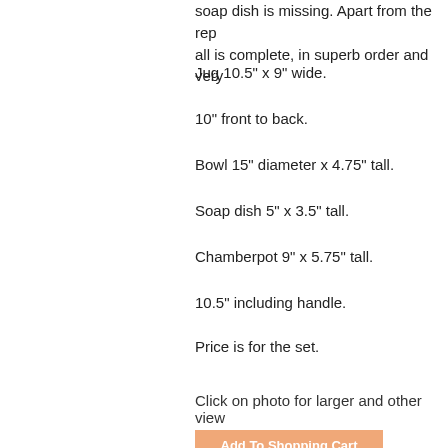soap dish is missing. Apart from the rep all is complete, in superb order and very
Jug 10.5" x 9" wide.
10" front to back.
Bowl 15" diameter x 4.75" tall.
Soap dish 5" x 3.5" tall.
Chamberpot 9" x 5.75" tall.
10.5" including handle.
Price is for the set.
Click on photo for larger and other view
Price: £250.00
[Figure (other): Add To Shopping Cart button]
[Figure (photo): Photo of a cream/ivory coloured soap dish or ceramic piece on a grey background]
C
C th